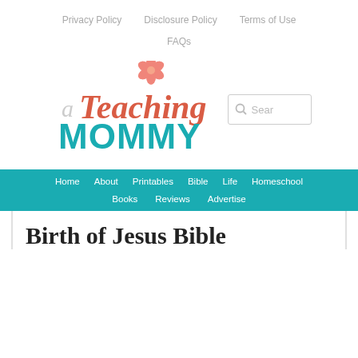Privacy Policy   Disclosure Policy   Terms of Use   FAQs
[Figure (logo): a Teaching Mommy logo with coral/red script lettering 'a Teaching' and teal bold 'MOMMY', with a pink flower above the 'i']
Sear
Home   About   Printables   Bible   Life   Homeschool   Books   Reviews   Advertise
Birth of Jesus Bible